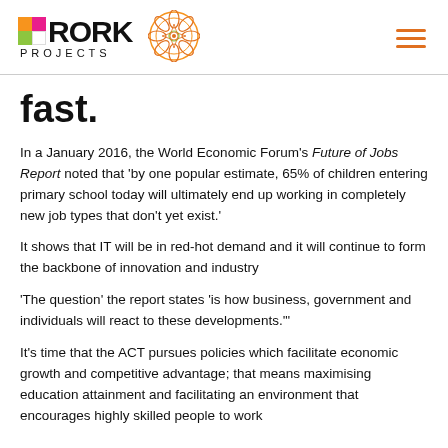RORK PROJECTS
fast.
In a January 2016, the World Economic Forum's Future of Jobs Report noted that 'by one popular estimate, 65% of children entering primary school today will ultimately end up working in completely new job types that don't yet exist.'
It shows that IT will be in red-hot demand and it will continue to form the backbone of innovation and industry
'The question' the report states 'is how business, government and individuals will react to these developments.'"
It's time that the ACT pursues policies which facilitate economic growth and competitive advantage; that means maximising education attainment and facilitating an environment that encourages highly skilled people to work